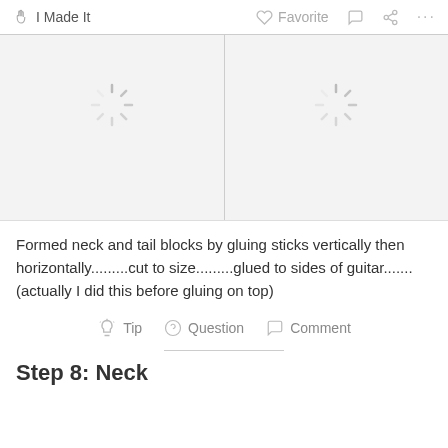I Made It   Favorite   Comment   Share   ...
[Figure (screenshot): Two image placeholders with loading spinners on a light gray background, side by side]
Formed neck and tail blocks by gluing sticks vertically then horizontally.........cut to size.........glued to sides of guitar.......(actually I did this before gluing on top)
Tip   Question   Comment
Step 8: Neck